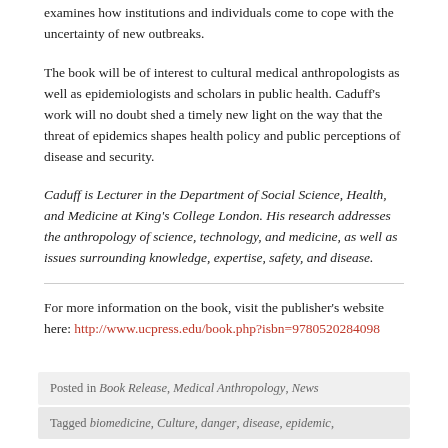examines how institutions and individuals come to cope with the uncertainty of new outbreaks.
The book will be of interest to cultural medical anthropologists as well as epidemiologists and scholars in public health. Caduff's work will no doubt shed a timely new light on the way that the threat of epidemics shapes health policy and public perceptions of disease and security.
Caduff is Lecturer in the Department of Social Science, Health, and Medicine at King's College London. His research addresses the anthropology of science, technology, and medicine, as well as issues surrounding knowledge, expertise, safety, and disease.
For more information on the book, visit the publisher's website here: http://www.ucpress.edu/book.php?isbn=9780520284098
Posted in Book Release, Medical Anthropology, News
Tagged biomedicine, Culture, danger, disease, epidemic,